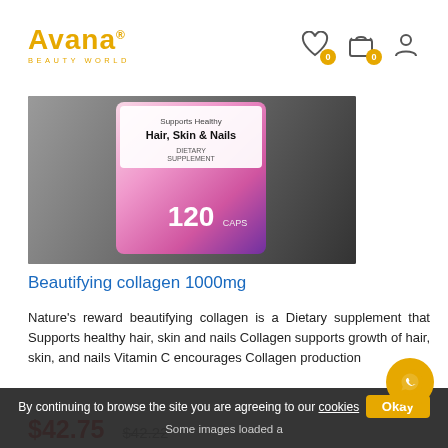[Figure (logo): Avana Beauty World logo in gold/yellow color with registered trademark symbol]
[Figure (screenshot): Navigation icons: heart (wishlist with badge 0), shopping bag (cart with badge 0), user account icon]
[Figure (photo): Supplement bottle showing pink/purple label: Supports Healthy Hair, Skin & Nails, 120 capsules]
Beautifying collagen 1000mg
Nature’s reward beautifying collagen is a Dietary supplement that Supports healthy hair, skin and nails Collagen supports growth of hair, skin, and nails Vitamin C encourages Collagen production
$42.75  $42.22
By continuing to browse the site you are agreeing to our cookies  Okay
Some images loaded a